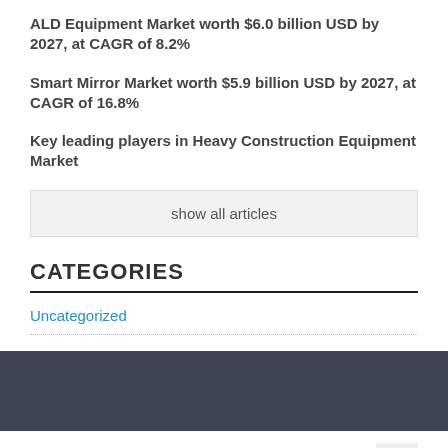ALD Equipment Market worth $6.0 billion USD by 2027, at CAGR of 8.2%
Smart Mirror Market worth $5.9 billion USD by 2027, at CAGR of 16.8%
Key leading players in Heavy Construction Equipment Market
show all articles
CATEGORIES
Uncategorized
© 2020 Copyright Jharkhand Magazine. All Rights reserved.